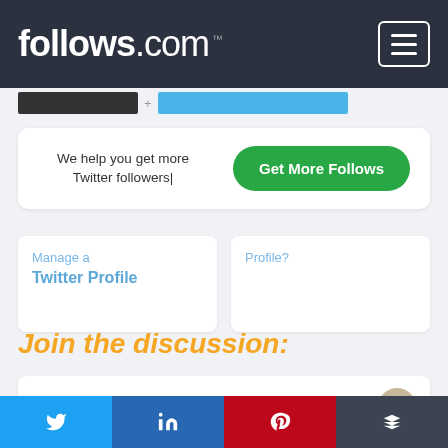follows.com™
We help you get more Twitter followers|
Get More Follows
Manage a Twitter Profile
Profile?
Join the discussion:
Michael says: